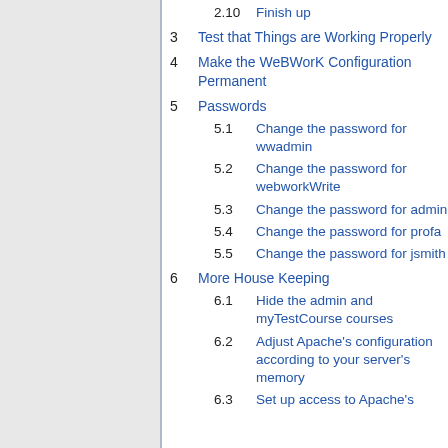2.10  Finish up
3  Test that Things are Working Properly
4  Make the WeBWorK Configuration Permanent
5  Passwords
5.1  Change the password for wwadmin
5.2  Change the password for webworkWrite
5.3  Change the password for admin
5.4  Change the password for profa
5.5  Change the password for jsmith
6  More House Keeping
6.1  Hide the admin and myTestCourse courses
6.2  Adjust Apache's configuration according to your server's memory
6.3  Set up access to Apache's